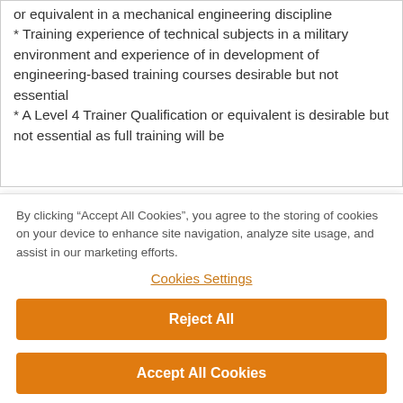or equivalent in a mechanical engineering discipline
* Training experience of technical subjects in a military environment and experience of in development of engineering-based training courses desirable but not essential
* A Level 4 Trainer Qualification or equivalent is desirable but not essential as full training will be
By clicking “Accept All Cookies”, you agree to the storing of cookies on your device to enhance site navigation, analyze site usage, and assist in our marketing efforts.
Cookies Settings
Reject All
Accept All Cookies